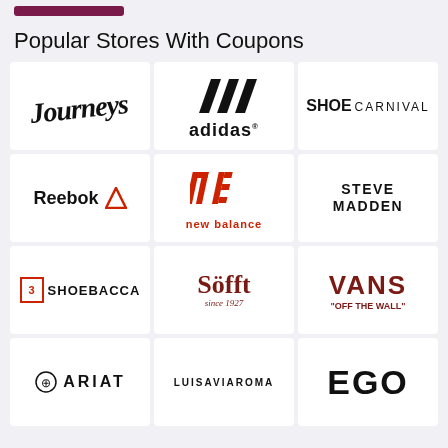Popular Stores With Coupons
[Figure (logo): Journeys logo - stylized graffiti text]
[Figure (logo): Adidas logo - three stripes and adidas wordmark]
[Figure (logo): Shoe Carnival logo]
[Figure (logo): Reebok logo with delta triangle]
[Figure (logo): New Balance NB logo in red]
[Figure (logo): Steve Madden logo]
[Figure (logo): Shoebacca logo]
[Figure (logo): Sofft since 1927 logo]
[Figure (logo): Vans Off The Wall logo]
[Figure (logo): Ariat logo]
[Figure (logo): Luisaviaroma logo]
[Figure (logo): EGO logo]